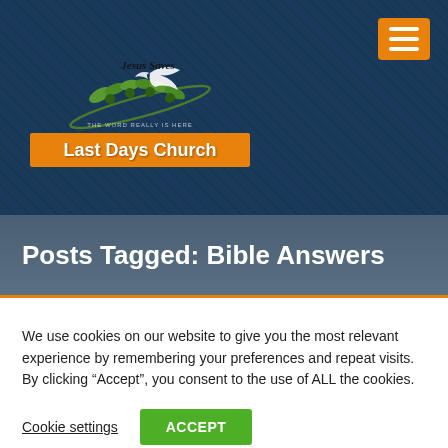[Figure (logo): Last Days Church logo with olive branch, dove, and orange banner reading 'Last Days Church' and 'Jesus Saves' text above]
Posts Tagged: Bible Answers
We use cookies on our website to give you the most relevant experience by remembering your preferences and repeat visits. By clicking “Accept”, you consent to the use of ALL the cookies.
Cookie settings   ACCEPT